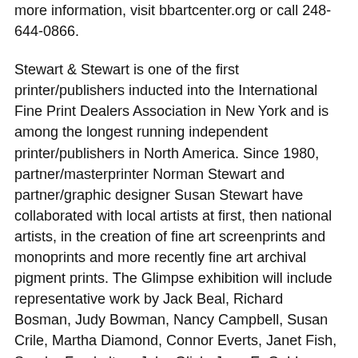more information, visit bbartcenter.org or call 248-644-0866.
Stewart & Stewart is one of the first printer/publishers inducted into the International Fine Print Dealers Association in New York and is among the longest running independent printer/publishers in North America. Since 1980, partner/masterprinter Norman Stewart and partner/graphic designer Susan Stewart have collaborated with local artists at first, then national artists, in the creation of fine art screenprints and monoprints and more recently fine art archival pigment prints. The Glimpse exhibition will include representative work by Jack Beal, Richard Bosman, Judy Bowman, Nancy Campbell, Susan Crile, Martha Diamond, Connor Everts, Janet Fish, Sondra Freckelton, John Glick, Jane E. Goldman, C.Dennis Guastella, Keiko Hara, John Himmelfarb, Sue Hirtzel, Sidney Hurwitz, Yvonne Jacquette, Hugh Kepets, Catherine Kernan, Clinton Kuopus, Daniel Lang, Ann Mikolowski, Jim Nawara, Lucille Procter Nawara, Don Nice,